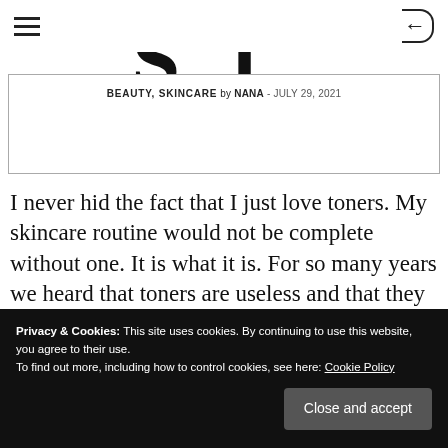≡  [site logo: S...l]  ←
BEAUTY, SKINCARE by NANA - JULY 29, 2021
I never hid the fact that I just love toners. My skincare routine would not be complete without one. It is what it is. For so many years we heard that toners are useless and that they are no more than pretty scented
Privacy & Cookies: This site uses cookies. By continuing to use this website, you agree to their use.
To find out more, including how to control cookies, see here: Cookie Policy
least feel like it. Asian brands have created